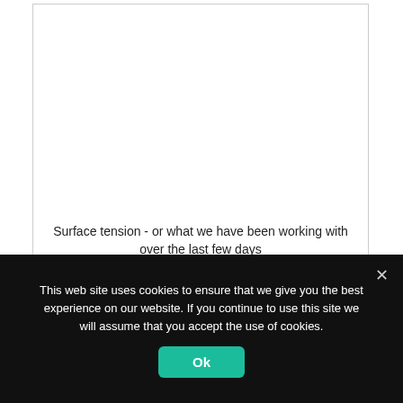[Figure (photo): Image area showing surface tension experiment, empty white space visible in the screenshot]
Surface tension - or what we have been working with over the last few days
I've spend the lion's share of the past few days in the lab, working quite late to obtain supercool results that we will now verify over the weekend. It's very exciting to be able to generate useful data already during your first week in the lab (after not doing wet lab work for years), but mostly this is
This web site uses cookies to ensure that we give you the best experience on our website. If you continue to use this site we will assume that you accept the use of cookies.
Ok